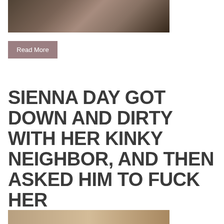[Figure (photo): Partial photograph cropped at top of page, dark background with flesh tones]
Read More
SIENNA DAY GOT DOWN AND DIRTY WITH HER KINKY NEIGHBOR, AND THEN ASKED HIM TO FUCK HER
[Figure (photo): Partial photograph visible at bottom of page, warm tones]